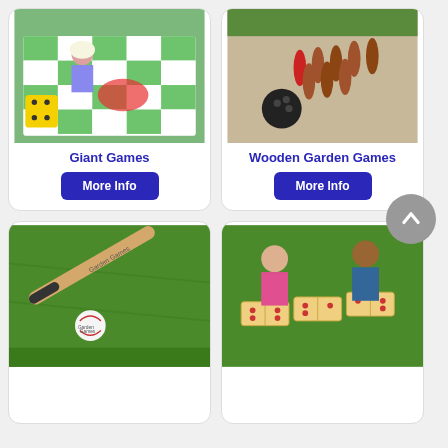[Figure (photo): Child playing giant snakes and ladders board game on grass with large yellow dice]
Giant Games
[Figure (other): More Info button for Giant Games]
[Figure (photo): Wooden bowling pins and ball set on paved surface]
Wooden Garden Games
[Figure (other): More Info button for Wooden Garden Games]
[Figure (other): Back to top arrow button - grey circle with upward chevron]
[Figure (photo): Wooden baseball bat and ball on grass, bat labeled Garden Games]
[Figure (photo): Two children playing giant dominoes on grass outdoors]